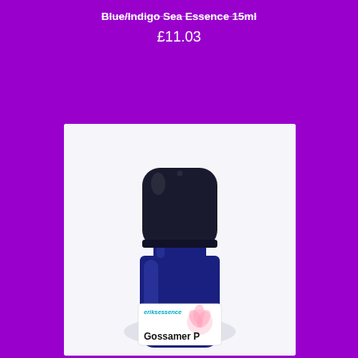Blue/Indigo Sea Essence 15ml
£11.03
[Figure (photo): A small dark blue glass bottle with a large black cap, labeled 'eriksessence' and 'Gossamer P...' with pink flower imagery, photographed against a white background.]